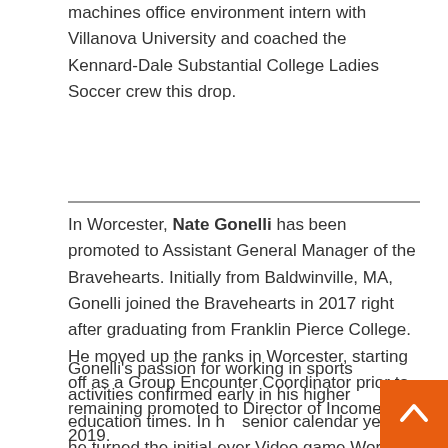machines office environment intern with Villanova University and coached the Kennard-Dale Substantial College Ladies Soccer crew this drop.
In Worcester, Nate Gonelli has been promoted to Assistant General Manager of the Bravehearts. Initially from Baldwinville, MA, Gonelli joined the Bravehearts in 2017 right after graduating from Franklin Pierce College. He moved up the ranks in Worcester, starting off as a Group Encounter Coordinator prior to remaining promoted to Director of Income in 2019.
Gonelli's passion for working in sports activities confirmed early in his higher education times. In his senior calendar year, he turned the initial-ever Video game Working day Operations Intern for Franklin